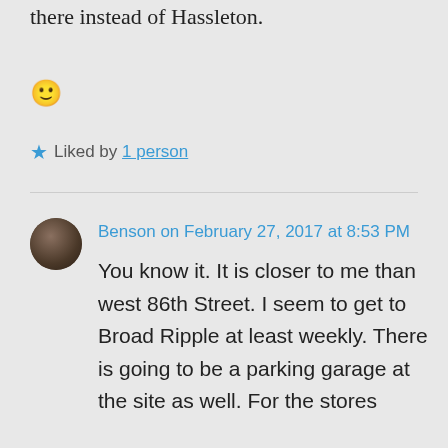there instead of Hassleton.
🙂
★ Liked by 1 person
Benson on February 27, 2017 at 8:53 PM
You know it. It is closer to me than west 86th Street. I seem to get to Broad Ripple at least weekly. There is going to be a parking garage at the site as well. For the stores